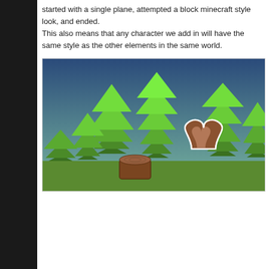started with a single plane, attempted a block minecraft style look, and ended. This also means that any character we add in will have the same style as the other elements in the same world.
[Figure (illustration): A 2D game scene with a gradient sky (dark blue to teal/green at bottom), multiple bright green stylized pine/fir trees of varying sizes arranged across a green ground. In the foreground, two brown objects resembling tree stumps or logs are visible — one on the left side and one in the center-right. The right side shows a large brown heart-shaped or rounded form.]